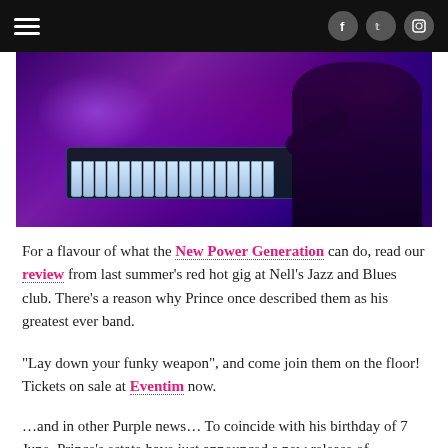Navigation bar with hamburger menu and social icons (Facebook, Twitter, Instagram)
[Figure (photo): Concert photo showing a musician at a keyboard/synthesizer under purple and pink stage lighting]
For a flavour of what the New Power Generation can do, read our review from last summer's red hot gig at Nell's Jazz and Blues club. There's a reason why Prince once described them as his greatest ever band.
"Lay down your funky weapon", and come join them on the floor! Tickets on sale at Eventim now.
…and in other Purple news… To coincide with his birthday of 7 June, Prince's estate have just announced a new release of previously unheard